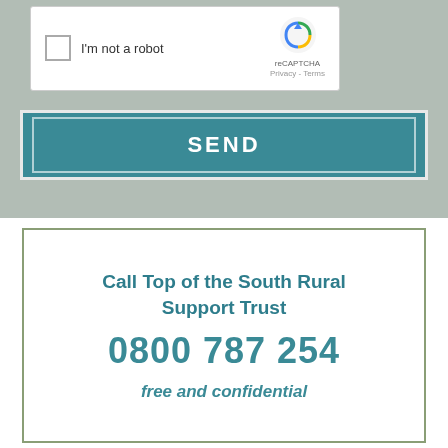[Figure (screenshot): reCAPTCHA widget showing checkbox 'I'm not a robot' with reCAPTCHA logo, Privacy and Terms links]
SEND
Call Top of the South Rural Support Trust
0800 787 254
free and confidential